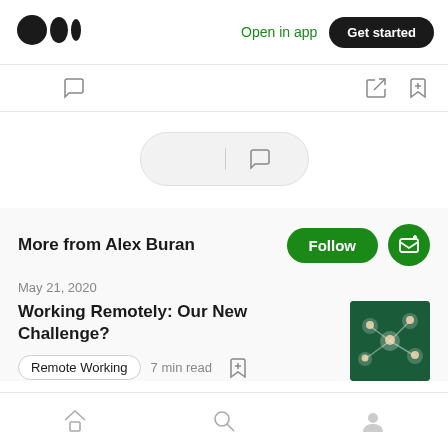[Figure (logo): Medium logo (two black dots and a bar)]
Open in app
Get started
[Figure (infographic): Icon row with clap and comment icons on left, share and bookmark-plus icons on right]
[Figure (infographic): Pill widget with clap icon, vertical divider, and comment icon]
More from Alex Buran
Follow
May 21, 2020
Working Remotely: Our New Challenge?
Remote Working   7 min read
[Figure (photo): Thumbnail image for Working Remotely article showing network of avatars on dark green background]